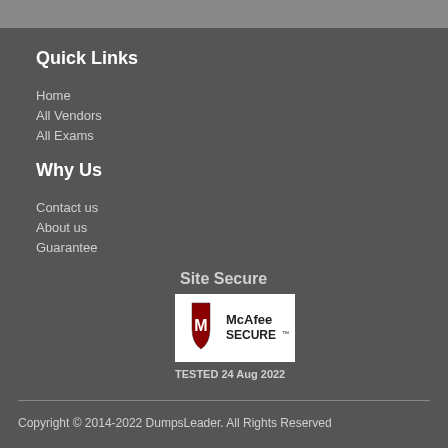Quick Links
Home
All Vendors
All Exams
Why Us
Contact us
About us
Guarantee
Site Secure
[Figure (logo): McAfee SECURE logo with shield icon and text]
TESTED 24 Aug 2022
Copyright © 2014-2022 DumpsLeader. All Rights Reserved